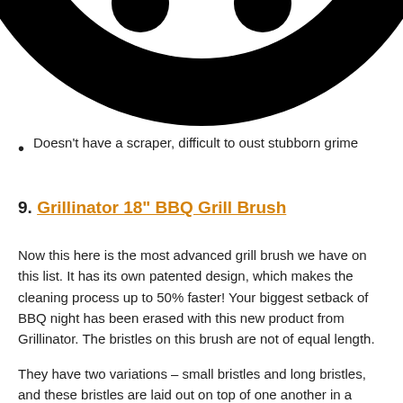[Figure (logo): Partial bottom view of a circular black logo/icon showing a smiling face or similar design, cropped at the top of the page]
Doesn't have a scraper, difficult to oust stubborn grime
9. Grillinator 18" BBQ Grill Brush
Now this here is the most advanced grill brush we have on this list. It has its own patented design, which makes the cleaning process up to 50% faster! Your biggest setback of BBQ night has been erased with this new product from Grillinator. The bristles on this brush are not of equal length.
They have two variations – small bristles and long bristles, and these bristles are laid out on top of one another in a